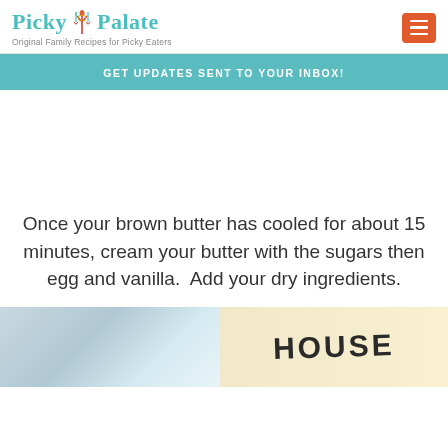Picky Palate — Original Family Recipes for Picky Eaters
GET UPDATES SENT TO YOUR INBOX!
Once your brown butter has cooled for about 15 minutes, cream your butter with the sugars then egg and vanilla.  Add your dry ingredients.
[Figure (photo): Partial photo showing baking ingredients with the word HOUSE visible on packaging, yellow and light blue tones]